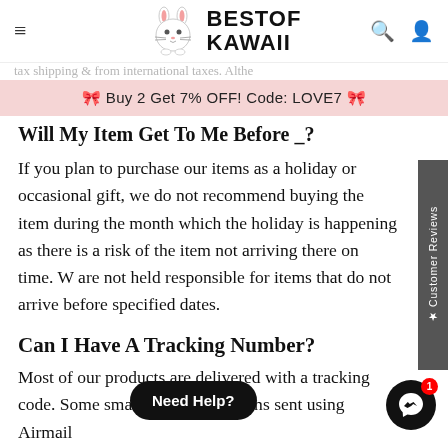BEST OF KAWAII
🎀 Buy 2 Get 7% OFF! Code: LOVE7 🎀
Will My Item Get To Me Before _?
If you plan to purchase our items as a holiday or occasional gift, we do not recommend buying the item during the month which the holiday is happening as there is a risk of the item not arriving there on time. We are not held responsible for items that do not arrive before specified dates.
Can I Have A Tracking Number?
Most of our products are deliv... code. Some smaller items and items sent using Airmail